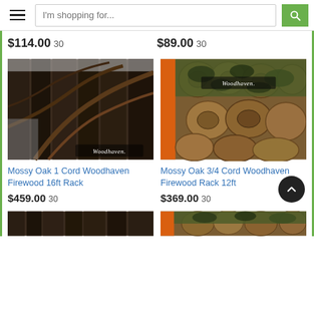[Figure (screenshot): Website header with hamburger menu, search bar with placeholder 'I'm shopping for...' and a green search button]
$114.00  30
$89.00  30
[Figure (photo): Mossy Oak camouflage firewood rack with Woodhaven branding, snowy forest background, 16ft rack]
[Figure (photo): Mossy Oak camouflage firewood rack with Woodhaven branding, stacked firewood and orange rack visible, 12ft rack]
Mossy Oak 1 Cord Woodhaven Firewood 16ft Rack
Mossy Oak 3/4 Cord Woodhaven Firewood Rack 12ft
$459.00  30
$369.00  30